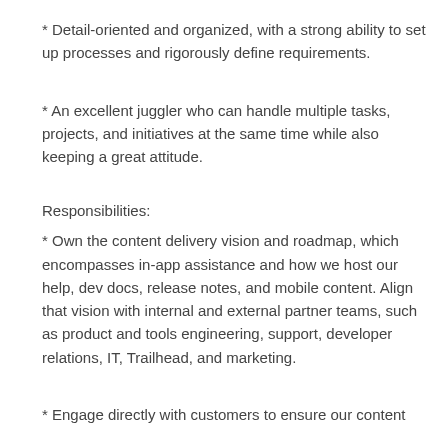* Detail-oriented and organized, with a strong ability to set up processes and rigorously define requirements.
* An excellent juggler who can handle multiple tasks, projects, and initiatives at the same time while also keeping a great attitude.
Responsibilities:
* Own the content delivery vision and roadmap, which encompasses in-app assistance and how we host our help, dev docs, release notes, and mobile content. Align that vision with internal and external partner teams, such as product and tools engineering, support, developer relations, IT, Trailhead, and marketing.
* Engage directly with customers to ensure our content